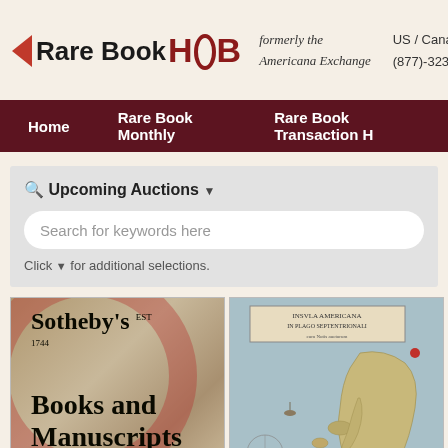Rare Book HUB — formerly the Americana Exchange — US / Canada (877)-323-RA
Home | Rare Book Monthly | Rare Book Transaction H
Upcoming Auctions ▼
Search for keywords here
Click ▼ for additional selections.
[Figure (photo): Sotheby's Books and Manuscripts auction catalog cover]
[Figure (photo): Antique map - Insvla Americana in Plago Septentrionali]